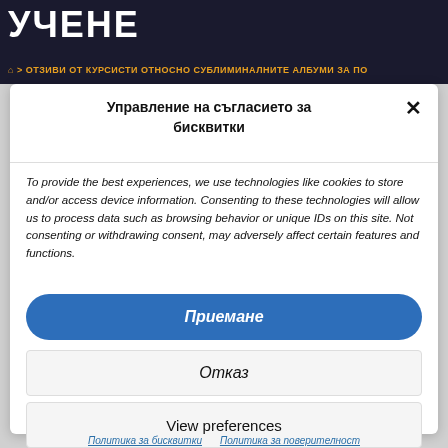УЧЕНЕ
⌂ > ОТЗИВИ ОТ КУРСИСТИ ОТНОСНО СУБЛИМИНАЛНИТЕ АЛБУМИ ЗА ПО
Управление на съгласието за бисквитки
To provide the best experiences, we use technologies like cookies to store and/or access device information. Consenting to these technologies will allow us to process data such as browsing behavior or unique IDs on this site. Not consenting or withdrawing consent, may adversely affect certain features and functions.
Приемане
Отказ
View preferences
Политика за бисквитки   Политика за поверителност